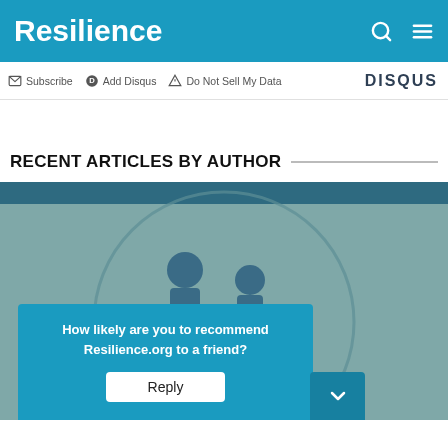Resilience
Subscribe   Add Disqus   Do Not Sell My Data   DISQUS
RECENT ARTICLES BY AUTHOR
[Figure (illustration): Illustration of two figures walking inside a circular backdrop on a teal/muted green background, with a teal header bar at top. Over the image is a blue survey popup asking 'How likely are you to recommend Resilience.org to a friend?' with a white Reply button, and a darker chevron/collapse button to the right.]